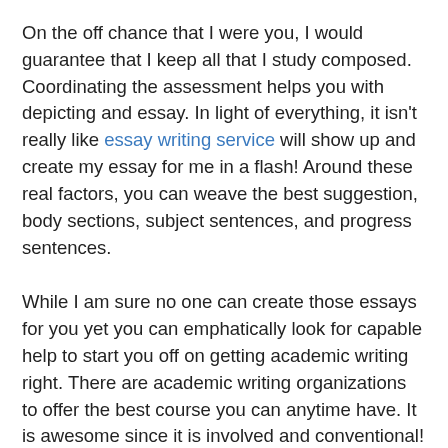On the off chance that I were you, I would guarantee that I keep all that I study composed. Coordinating the assessment helps you with depicting and essay. In light of everything, it isn't really like essay writing service will show up and create my essay for me in a flash! Around these real factors, you can weave the best suggestion, body sections, subject sentences, and progress sentences.
While I am sure no one can create those essays for you yet you can emphatically look for capable help to start you off on getting academic writing right. There are academic writing organizations to offer the best course you can anytime have. It is awesome since it is involved and conventional! For an apparent charge!
Useful Resources
Distinction Between Expository And Persuasive Writing
Transition Sentences | Tips and Examples for Clear Writing